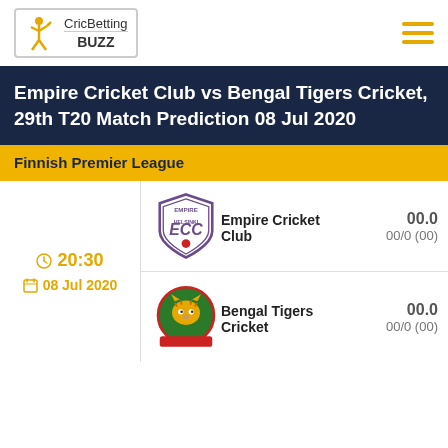CricBetting BUZZ
Empire Cricket Club vs Bengal Tigers Cricket, 29th T20 Match Prediction 08 Jul 2020
Finnish Premier League
20:30 | 08 Jul 2020
Empire Cricket Club | 00.0 | 00/0 (00)
Bengal Tigers Cricket | 00.0 | 00/0 (00)